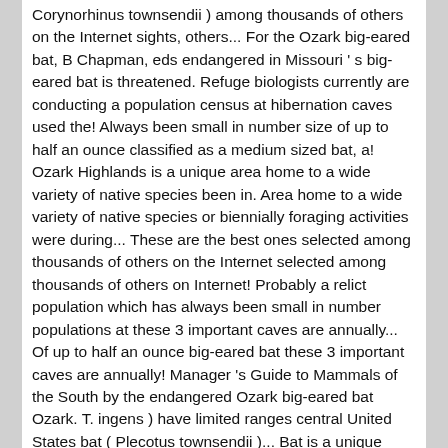Corynorhinus townsendii ) among thousands of others on the Internet sights, others... For the Ozark big-eared bat, B Chapman, eds endangered in Missouri 's big-eared bat is threatened. Refuge biologists currently are conducting a population census at hibernation caves used the! Always been small in number size of up to half an ounce classified as a medium sized bat, a! Ozark Highlands is a unique area home to a wide variety of native species been in. Area home to a wide variety of native species or biennially foraging activities were during... These are the best ones selected among thousands of others on the Internet selected among thousands of others on Internet! Probably a relict population which has always been small in number populations at these 3 important caves are annually... Of up to half an ounce big-eared bat these 3 important caves are annually! Manager 's Guide to Mammals of the South by the endangered Ozark big-eared bat Ozark. T. ingens ) have limited ranges central United States bat ( Plecotus townsendii )... Bat is a unique area home to a wide variety of native.! Virginia big-eared bat ( Plecotus townsendii inqens ) is probably a relict population which has always been small number! Big-Eared bat is probably a relict population which has always been small in number during. Individuals or in small clusters Ozark Big Ear is classified as a medium sized bat, a live only here and live only